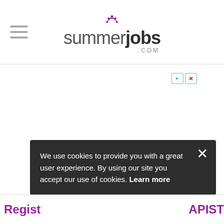summerjobs.com
[Figure (other): Ad controls with play and close buttons]
We use cookies to provide you with a great user experience. By using our site you accept our use of cookies. Learn more
Regist ... APIST